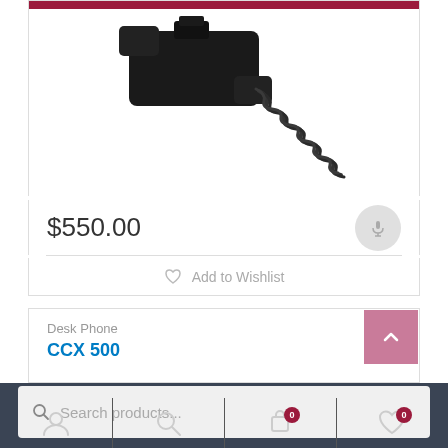[Figure (photo): Partial view of a black desk phone handset with coiled cord on white background]
$550.00
Add to Wishlist
Desk Phone
CCX 500
Search products...